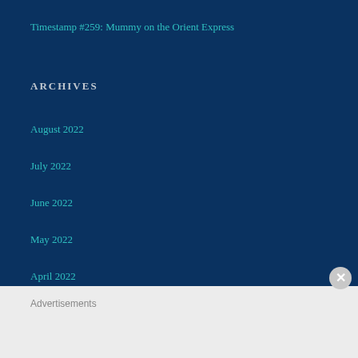Timestamp #259: Mummy on the Orient Express
ARCHIVES
August 2022
July 2022
June 2022
May 2022
April 2022
Advertisements